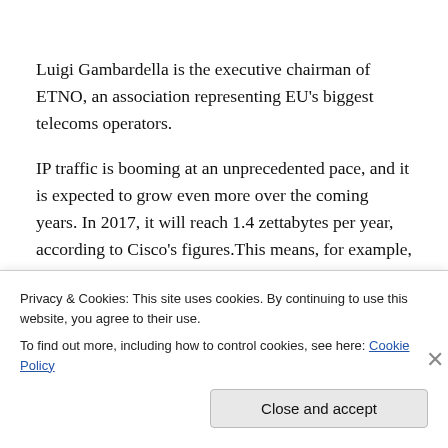Luigi Gambardella is the executive chairman of ETNO, an association representing EU's biggest telecoms operators.
IP traffic is booming at an unprecedented pace, and it is expected to grow even more over the coming years. In 2017, it will reach 1.4 zettabytes per year, according to Cisco's figures.This means, for example, that the gigabyte equivalent of all movies ever made will cross Western Europe's backbone IP networks every 21 minutes
Privacy & Cookies: This site uses cookies. By continuing to use this website, you agree to their use.
To find out more, including how to control cookies, see here: Cookie Policy